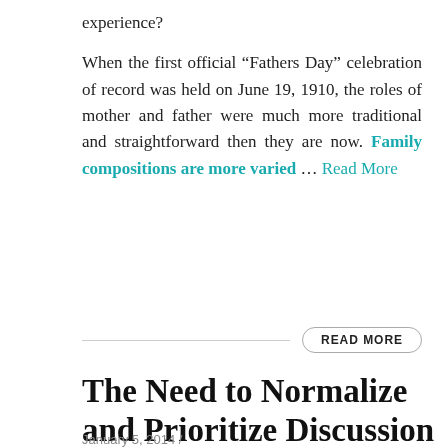experience?

When the first official “Fathers Day” celebration of record was held on June 19, 1910, the roles of mother and father were much more traditional and straightforward then they are now. Family compositions are more varied ... Read More
READ MORE
The Need to Normalize and Prioritize Discussion of Mental Health
January 5, 2014 / ...